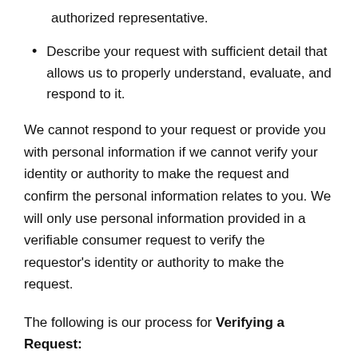authorized representative.
Describe your request with sufficient detail that allows us to properly understand, evaluate, and respond to it.
We cannot respond to your request or provide you with personal information if we cannot verify your identity or authority to make the request and confirm the personal information relates to you. We will only use personal information provided in a verifiable consumer request to verify the requestor's identity or authority to make the request.
The following is our process for Verifying a Request: